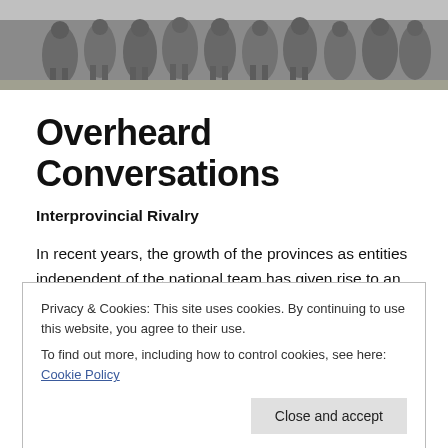[Figure (photo): Black and white photograph of rugby players in a group/huddle on a field]
Overheard Conversations
Interprovincial Rivalry
In recent years, the growth of the provinces as entities independent of the national team has given rise to an intense rivalry, which borders on the farcical at times, and in the past certainly hasn't helped build a good
Privacy & Cookies: This site uses cookies. By continuing to use this website, you agree to their use.
To find out more, including how to control cookies, see here: Cookie Policy
Case in point: Egg was getting the DORSH to the game,